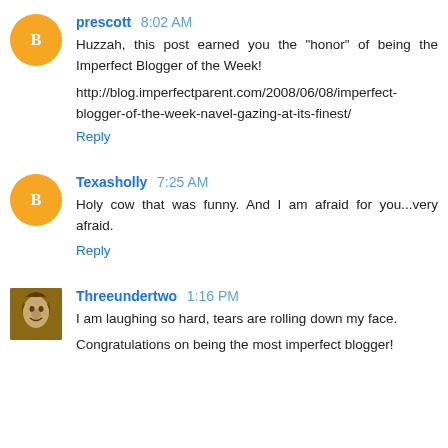prescott 8:02 AM
Huzzah, this post earned you the "honor" of being the Imperfect Blogger of the Week!

http://blog.imperfectparent.com/2008/06/08/imperfect-blogger-of-the-week-navel-gazing-at-its-finest/

Reply
Texasholly 7:25 AM
Holy cow that was funny. And I am afraid for you...very afraid.

Reply
Threeundertwo 1:16 PM
I am laughing so hard, tears are rolling down my face.

Congratulations on being the most imperfect blogger!